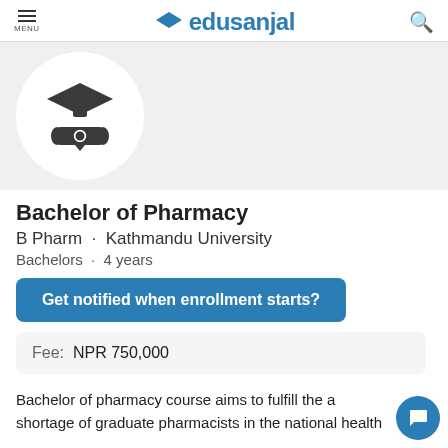MENU | edusanjal
[Figure (illustration): Graduation cap and diploma scroll icon inside a white circle on a gray background]
Bachelor of Pharmacy
B Pharm · Kathmandu University
Bachelors · 4 years
Get notified when enrollment starts?
Fee:  NPR 750,000
Bachelor of pharmacy course aims to fulfill the a shortage of graduate pharmacists in the national health